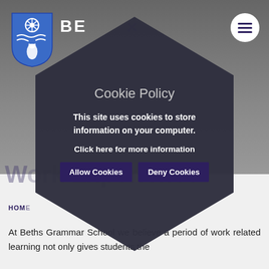[Figure (screenshot): School website screenshot showing logo, partial 'BE' text, close X button, hamburger menu icon, 'Work Experience' page heading, HOME breadcrumb link, and body text reading 'At Beths Grammar School we believe a period of work related learning not only gives students the']
[Figure (other): Cookie policy modal overlay with hexagonal/shield shape in dark gray. Contains title 'Cookie Policy', body text 'This site uses cookies to store information on your computer.', link 'Click here for more information', and two buttons: 'Allow Cookies' and 'Deny Cookies'.]
Cookie Policy
This site uses cookies to store information on your computer.
Click here for more information
Allow Cookies
Deny Cookies
At Beths Grammar School we believe a period of work related learning not only gives students the